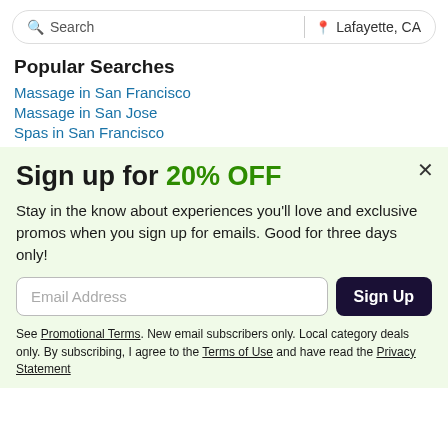Search | Lafayette, CA
Popular Searches
Massage in San Francisco
Massage in San Jose
Spas in San Francisco
Sign up for 20% OFF
Stay in the know about experiences you'll love and exclusive promos when you sign up for emails. Good for three days only!
Email Address
Sign Up
See Promotional Terms. New email subscribers only. Local category deals only. By subscribing, I agree to the Terms of Use and have read the Privacy Statement